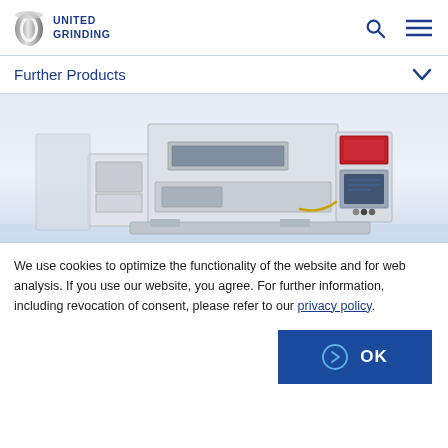[Figure (logo): United Grinding logo with metallic ring icon and blue text]
Further Products
[Figure (photo): Industrial grinding machine, white and grey with red accent panel and control panel on right side]
We use cookies to optimize the functionality of the website and for web analysis. If you use our website, you agree. For further information, including revocation of consent, please refer to our privacy policy.